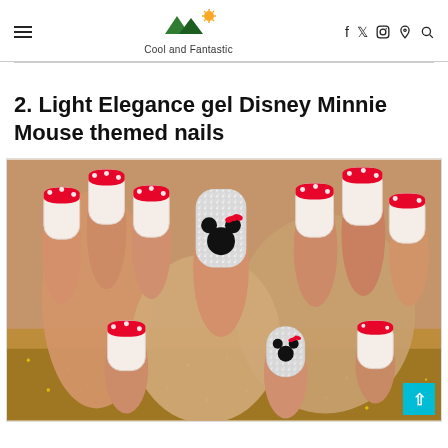Cool and Fantastic
2. Light Elegance gel Disney Minnie Mouse themed nails
[Figure (photo): Close-up photo of hands with Light Elegance gel Disney Minnie Mouse themed nails — white/clear gel base with red tips featuring white polka dots, and one accent nail showing a glittery Minnie Mouse silhouette with bow on a sparkly silver background.]